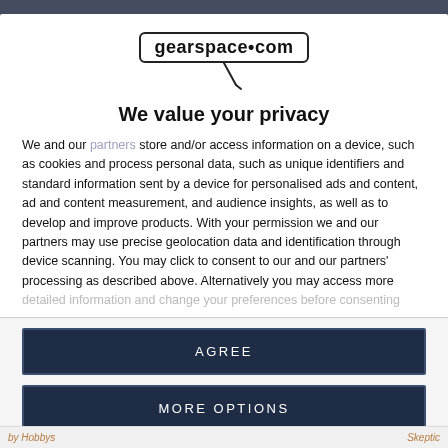[Figure (logo): gearspace.com logo with microphone icon below]
We value your privacy
We and our partners store and/or access information on a device, such as cookies and process personal data, such as unique identifiers and standard information sent by a device for personalised ads and content, ad and content measurement, and audience insights, as well as to develop and improve products. With your permission we and our partners may use precise geolocation data and identification through device scanning. You may click to consent to our and our partners' processing as described above. Alternatively you may access more detailed information and change your preferences before consenting
AGREE
MORE OPTIONS
by Hobbys | Skeptic